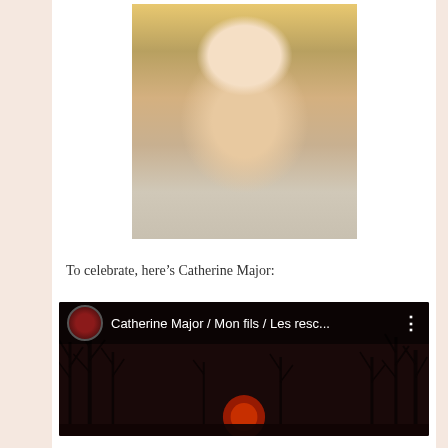[Figure (photo): A smiling boy holding a newborn baby wrapped in a floral blanket, photographed in a hospital or clinical setting with teal chair and yellow wall visible.]
To celebrate, here’s Catherine Major:
[Figure (screenshot): YouTube video thumbnail showing the title 'Catherine Major / Mon fils / Les resc...' with a dark forest silhouette background and a glowing red moon at the bottom, with a circular video channel icon on the left.]